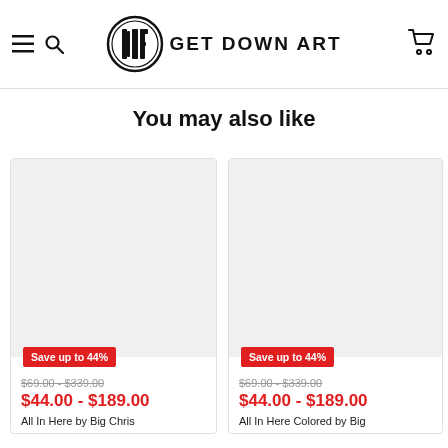GET DOWN ART — navigation header with logo, hamburger menu, search icon, and cart icon
You may also like
[Figure (illustration): Product card 1: gray placeholder image with red Save up to 44% badge, original price $69.00 - $339.00, sale price $44.00 - $189.00, product name All In Here by Big Chris]
[Figure (illustration): Product card 2: gray placeholder image with red Save up to 44% badge, original price $69.00 - $339.00, sale price $44.00 - $189.00, product name All In Here Colored by Big]
All In Here by Big Chris
All In Here Colored by Big